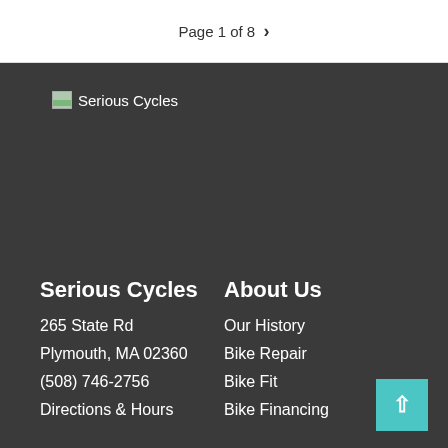Page 1 of 8 >
[Figure (logo): Serious Cycles logo image placeholder]
Serious Cycles
265 State Rd
Plymouth, MA 02360
(508) 746-2756
Directions & Hours
About Us
Our History
Bike Repair
Bike Fit
Bike Financing